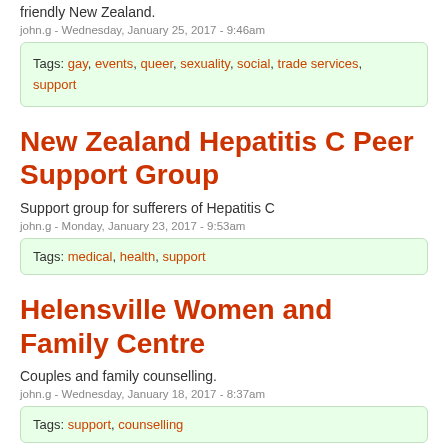friendly New Zealand.
john.g - Wednesday, January 25, 2017 - 9:46am
Tags: gay, events, queer, sexuality, social, trade services, support
New Zealand Hepatitis C Peer Support Group
Support group for sufferers of Hepatitis C
john.g - Monday, January 23, 2017 - 9:53am
Tags: medical, health, support
Helensville Women and Family Centre
Couples and family counselling.
john.g - Wednesday, January 18, 2017 - 8:37am
Tags: support, counselling